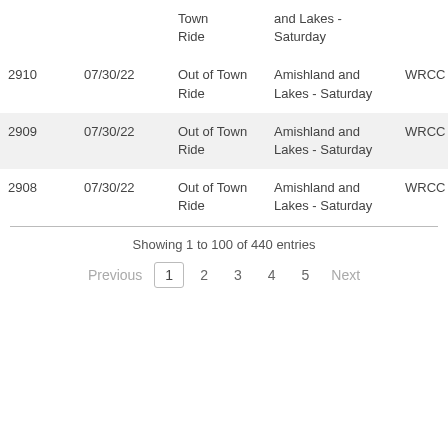|  |  | Town Ride | and Lakes - Saturday |  |
| --- | --- | --- | --- | --- |
| 2910 | 07/30/22 | Out of Town Ride | Amishland and Lakes - Saturday | WRCC |
| 2909 | 07/30/22 | Out of Town Ride | Amishland and Lakes - Saturday | WRCC |
| 2908 | 07/30/22 | Out of Town Ride | Amishland and Lakes - Saturday | WRCC |
Showing 1 to 100 of 440 entries
Previous  1  2  3  4  5  Next